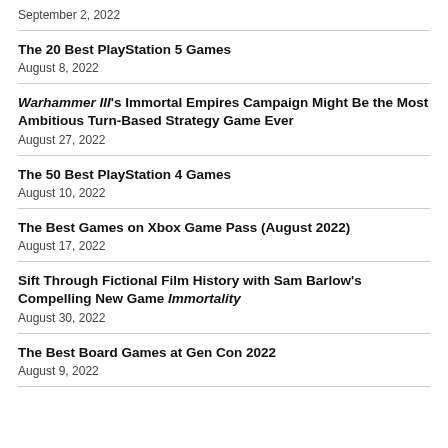September 2, 2022
The 20 Best PlayStation 5 Games
August 8, 2022
Warhammer III's Immortal Empires Campaign Might Be the Most Ambitious Turn-Based Strategy Game Ever
August 27, 2022
The 50 Best PlayStation 4 Games
August 10, 2022
The Best Games on Xbox Game Pass (August 2022)
August 17, 2022
Sift Through Fictional Film History with Sam Barlow's Compelling New Game Immortality
August 30, 2022
The Best Board Games at Gen Con 2022
August 9, 2022